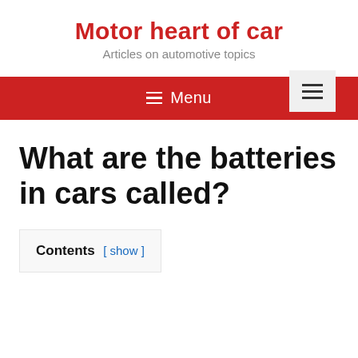Motor heart of car
Articles on automotive topics
≡ Menu
What are the batteries in cars called?
Contents [ show ]